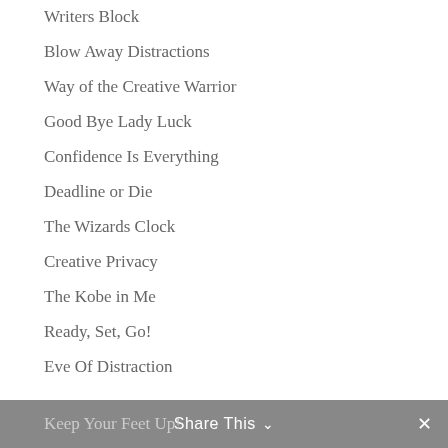Writers Block
Blow Away Distractions
Way of the Creative Warrior
Good Bye Lady Luck
Confidence Is Everything
Deadline or Die
The Wizards Clock
Creative Privacy
The Kobe in Me
Ready, Set, Go!
Eve Of Distraction
Keep Your Feet Up!  Share This  ✕